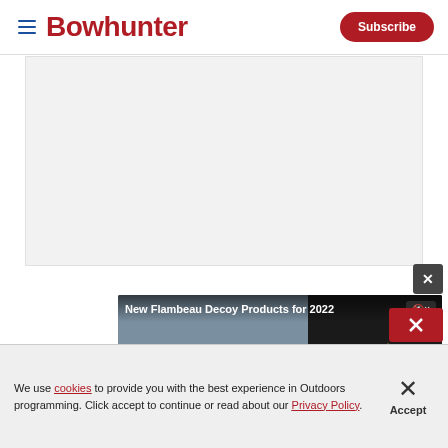Bowhunter | Subscribe
[Figure (screenshot): Gray advertisement placeholder area]
[Figure (screenshot): Video player showing New Flambeau Decoy Products for 2022 with two deer decoys, controls showing 00:00 / 06:27]
New Treest... Blinds for 2...
Jace Bauserm...
We use cookies to provide you with the best experience in Outdoors programming. Click accept to continue or read about our Privacy Policy.